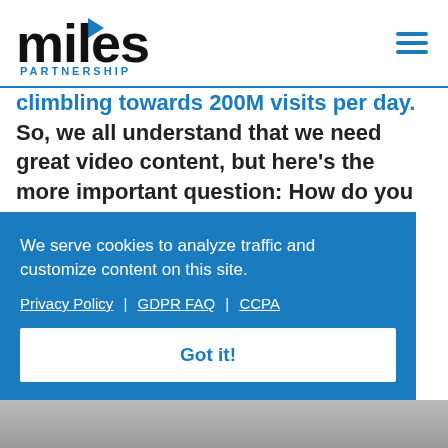miles PARTNERSHIP
... climbling towards 200M visits per day. So, we all understand that we need great video content, but here's the more important question: How do you get potential visitors to view the great video content you've spent time and money producing?
We serve cookies to analyze traffic and customize content on this site. Privacy Policy | GDPR FAQ | CCPA
Got it!
[Figure (photo): Partial image at bottom of page, cropped]